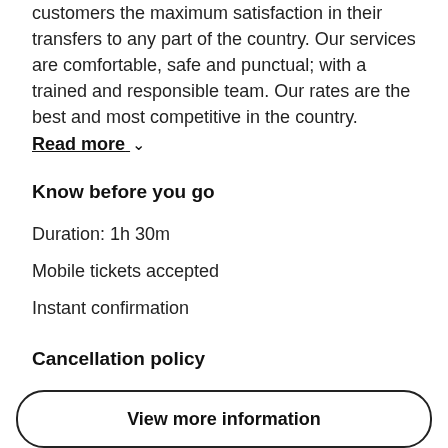Dominican Republic with the concept of giving our customers the maximum satisfaction in their transfers to any part of the country. Our services are comfortable, safe and punctual; with a trained and responsible team. Our rates are the best and most competitive in the country.
Read more ∨
Know before you go
Duration: 1h 30m
Mobile tickets accepted
Instant confirmation
Cancellation policy
For a full refund, cancel at least 24 hours in advance of the start date of the experience.
What to expect
View more information